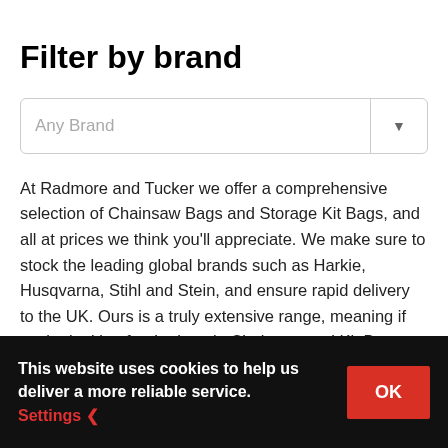Filter by brand
[Figure (screenshot): Dropdown selector showing 'Any Brand' with a downward arrow button on the right]
At Radmore and Tucker we offer a comprehensive selection of Chainsaw Bags and Storage Kit Bags, and all at prices we think you'll appreciate. We make sure to stock the leading global brands such as Harkie, Husqvarna, Stihl and Stein, and ensure rapid delivery to the UK. Ours is a truly extensive range, meaning if you're looking for the best in Chainsaw and Kit Bags then chances are we've got exactly what you need right here.
This website uses cookies to help us deliver a more reliable service. Settings ❯  OK